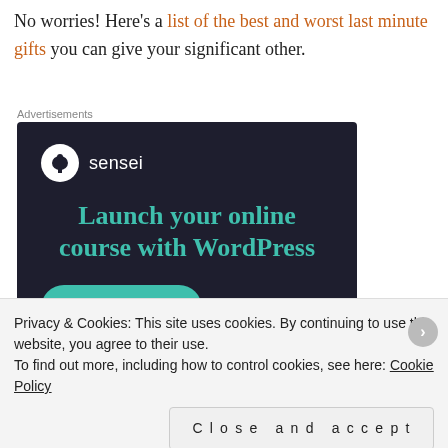No worries!  Here's a list of the best and worst last minute gifts you can give your significant other.
Advertisements
[Figure (infographic): Sensei advertisement banner with dark navy background. Shows Sensei logo (tree icon in circle) with brand name 'sensei', headline 'Launch your online course with WordPress' in teal, and a teal 'Learn More' button.]
Privacy & Cookies: This site uses cookies. By continuing to use this website, you agree to their use.
To find out more, including how to control cookies, see here: Cookie Policy
Close and accept